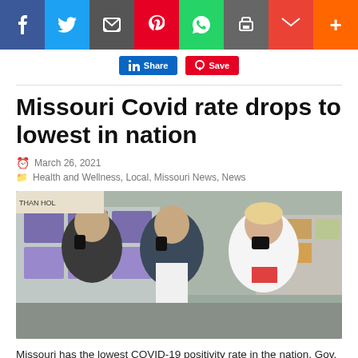[Figure (other): Social media sharing bar with buttons for Facebook, Twitter, Email, Pinterest, WhatsApp, Print, Gmail, and More]
[Figure (screenshot): LinkedIn Share and Pinterest Save buttons]
Missouri Covid rate drops to lowest in nation
March 26, 2021
Health and Wellness, Local, Missouri News, News
[Figure (photo): Three people wearing black masks standing indoors in front of store shelves stocked with paper products. A woman in a white lab coat is on the right.]
Missouri has the lowest COVID-19 positivity rate in the nation, Gov. Mike Parson announced on